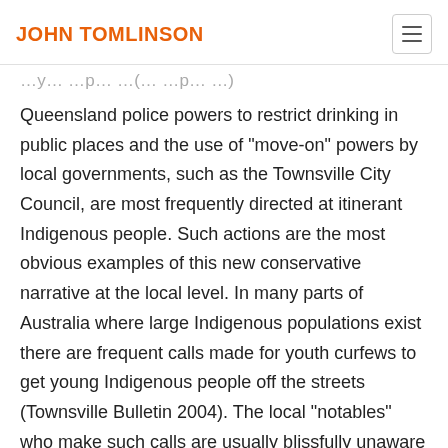JOHN TOMLINSON
Queensland police powers to restrict drinking in public places and the use of "move-on" powers by local governments, such as the Townsville City Council, are most frequently directed at itinerant Indigenous people. Such actions are the most obvious examples of this new conservative narrative at the local level. In many parts of Australia where large Indigenous populations exist there are frequent calls made for youth curfews to get young Indigenous people off the streets (Townsville Bulletin 2004). The local "notables" who make such calls are usually blissfully unaware that Aborigines had to be outside of many Queensland town boundaries by nightfall well into the 20th Century.